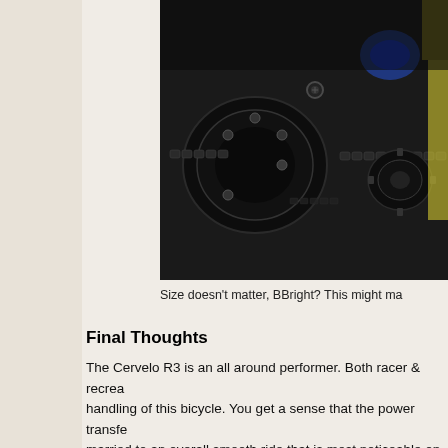[Figure (photo): Close-up photograph of a bicycle drivetrain showing chain, gears/sprockets, and derailleurs. Dark metallic parts visible with some blue component and yellow background detail.]
Size doesn't matter, BBright? This might ma
Final Thoughts
The Cervelo R3 is an all around performer. Both racer & recrea handling of this bicycle. You get a sense that the power transfe married to an overall smooth ride that is most noticeable on cob recreational riders will appreciate the smooth ride quality. I reall responsiveness (jump) when romping up short punchy climbs. T is fantastic. It is safe to say that this is a great purchase for a w why it's been the Editors' Choice at Bicycling.com two years in luxury. I might save some coin by going with the mechanical gro and pimp your ride. I can't say enough about the aesthetic appe brands always associated with the top shelf. The paint scheme that then anything else. I really appreciate when a product fulfil The R3 meets and exceeds my expectations. This is true of Ce